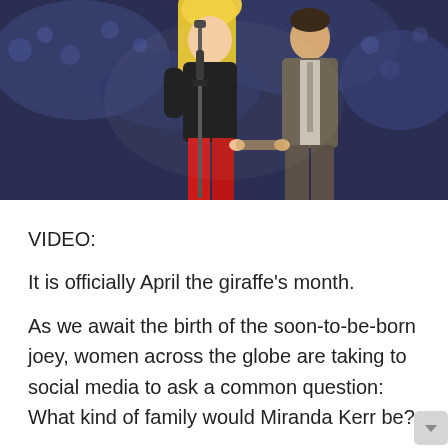[Figure (photo): Two people standing together at what appears to be a sporting event. A woman with long blonde hair wearing a black leather jacket and red pants holding a microphone stand, and a tall man in a grey/brown suit jacket standing to her right. A crowd is visible in the blurred background.]
VIDEO:
It is officially April the giraffe's month.
As we await the birth of the soon-to-be-born joey, women across the globe are taking to social media to ask a common question: What kind of family would Miranda Kerr be?